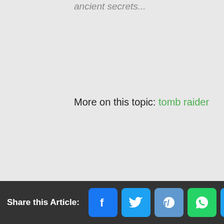ancient secrets...
More on this topic: tomb raider
Share this Article: [Facebook] [Twitter] [Reddit] [WhatsApp] [Email]